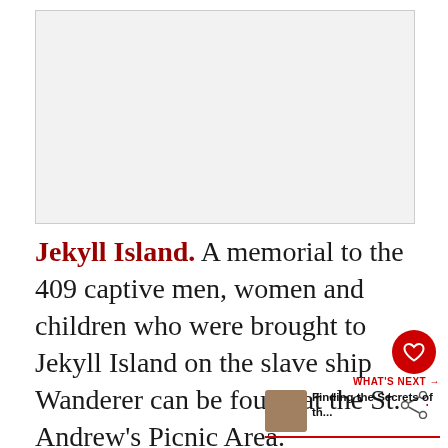[Figure (photo): Image placeholder area, light gray background]
Jekyll Island. A memorial to the 409 captive men, women and children who were brought to Jekyll Island on the slave ship Wanderer can be found at the St. Andrew's Picnic Area.